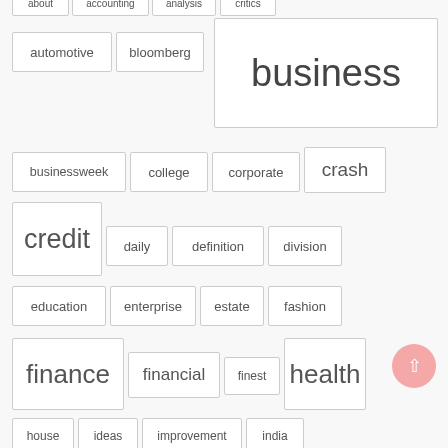about
accounting
analysis
critics
automotive
bloomberg
business
businessweek
college
corporate
crash
credit
daily
definition
division
education
enterprise
estate
fashion
finance
financial
finest
health
house
ideas
improvement
india
information
international
latest
leisure
loans
magazine
management
market